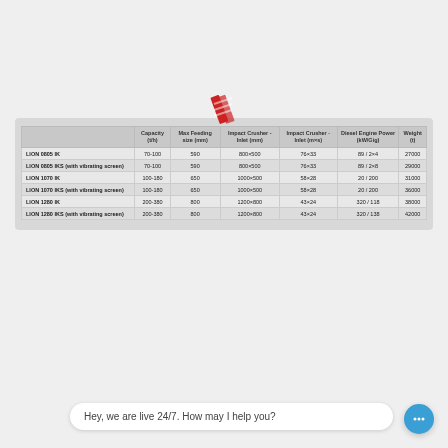|  | Capacity (t/h) | Max Feeding size (mm) | Impact Crusher - Inlet (mm) | Impact Crusher - Inlet (m×s) | Diesel Engine Power (kW/Gig) | Weight (t) |
| --- | --- | --- | --- | --- | --- | --- |
| LION 0805 IK | 70-100 | 590 | 800×500 | 76×33 | 89 / 2×4 | 27000 |
| LION 0805 IKS (with vibrating screen) | 70-100 | 590 | 800×500 | 76×33 | 89 / 2×8 | 29000 |
| LION 1070 IK | 100-180 | 650 | 1000×500 | 58×28 | 20 / 200 | 31000 |
| LION 1070 IKS (with vibrating screen) | 100-180 | 650 | 1000×500 | 58×28 | 20 / 200 | 36000 |
| LION 1280 IK | 200-380 | 800 | 1200×800 | 43×24 | 320 / 118 | 38000 |
| LION 1280 IKS (with vibrating screen) | 200-380 | 800 | 1200×800 | 43×24 | 320 / 138 | 42000 |
Hey, we are live 24/7. How may I help you?